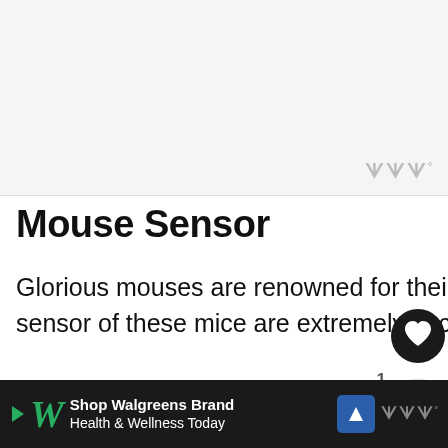[Figure (screenshot): Top banner area with light gray background, showing a website header with logo marks in the top right corner]
Mouse Sensor
Glorious mouses are renowned for their performance in FPS games. The sensor of these mice are extremely accurate and perfect.
Glorious Model O and O- both have Pixart PMW 3360, a popular sensor in the
[Figure (screenshot): Bottom advertisement banner for Walgreens: Shop Walgreens Brand Health & Wellness Today]
Shop Walgreens Brand Health & Wellness Today